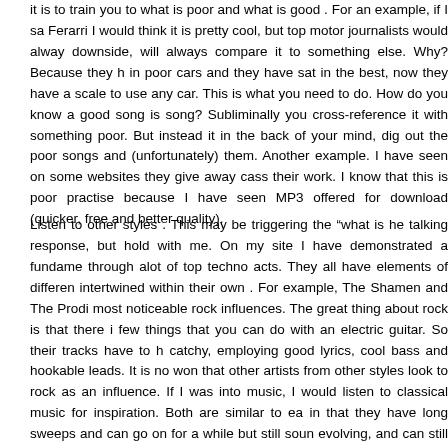it is to train you to what is poor and what is good . For an example, if I sa Ferarri I would think it is pretty cool, but top motor journalists would alway downside, will always compare it to something else. Why? Because they h in poor cars and they have sat in the best, now they have a scale to use any car. This is what you need to do. How do you know a good song is song? Subliminally you cross-reference it with something poor. But instead it in the back of your mind, dig out the poor songs and (unfortunately) them. Another example. I have seen on some websites they give away cass their work. I know that this is poor practise because I have seen MP3 offered for download (quicker, free and better quality).
Listen to other styles . This may be triggering the “what is he talking response, but hold with me. On my site I have demonstrated a fundame through alot of top techno acts. They all have elements of differen intertwined within their own . For example, The Shamen and The Prodi most noticeable rock influences. The great thing about rock is that there i few things that you can do with an electric guitar. So their tracks have to h catchy, employing good lyrics, cool bass and hookable leads. It is no won that other artists from other styles look to rock as an influence. If I was into music, I would listen to classical music for inspiration. Both are similar to ea in that they have long sweeps and can go on for a while but still soun evolving, and can still use hooks. Classical music has been an influence fo Orbit (helped Madonna with her Ray of Light CD, including that cool track i and he technoified Barbers Adagio for Strings, a cool classical track in it was brought into the light when it was played in Platoon.